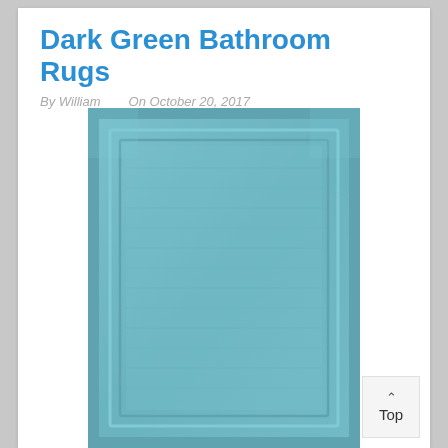Dark Green Bathroom Rugs
By William    On October 20, 2017
[Figure (photo): A teal/light blue rectangular bathroom rug with a double-border ribbed pattern, photographed on a white background.]